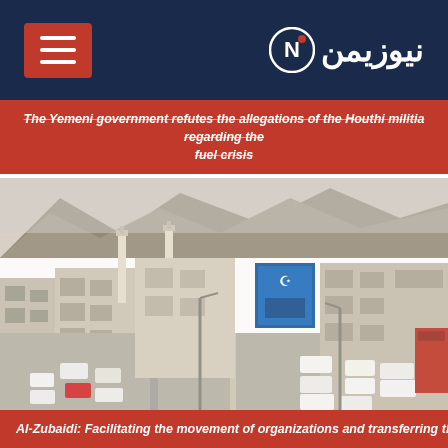نيوزيمن
The Yemeni government refutes the allegations of the Houthi militia regarding the fuel crisis
[Figure (photo): Aerial or elevated view of a Yemeni city street with traffic, white buildings, mosque minarets, and mountainous terrain in the background]
Al-Zubaidi: Facilitating the movement of organizations and transferring them to